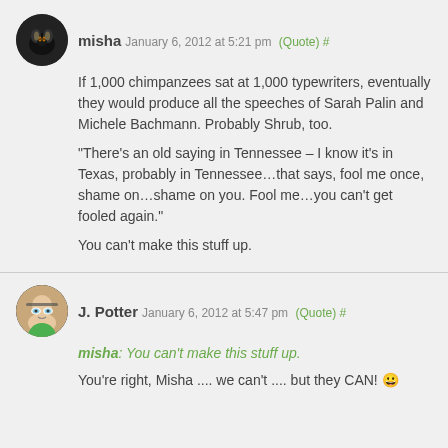misha January 6, 2012 at 5:21 pm (Quote) #
If 1,000 chimpanzees sat at 1,000 typewriters, eventually they would produce all the speeches of Sarah Palin and Michele Bachmann. Probably Shrub, too.

"There's an old saying in Tennessee – I know it's in Texas, probably in Tennessee…that says, fool me once, shame on…shame on you. Fool me…you can't get fooled again."

You can't make this stuff up.
J. Potter January 6, 2012 at 5:47 pm (Quote) #
misha: You can't make this stuff up.
You're right, Misha .... we can't .... but they CAN! 😀